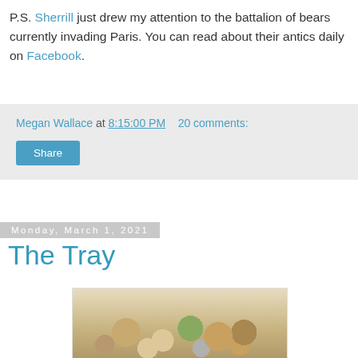P.S. Sherrill just drew my attention to the battalion of bears currently invading Paris. You can read about their antics daily on Facebook.
Megan Wallace at 8:15:00 PM   20 comments:
Share
Monday, March 1, 2021
The Tray
[Figure (photo): A collection of small stuffed toy animals and figurines piled together in a tray, including bears, rabbits, and other creatures in tan, brown, green, and grey colors.]